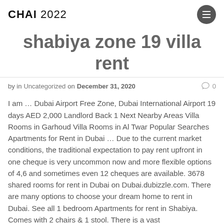CHAI 2022
shabiya zone 19 villa rent
by in Uncategorized on December 31, 2020   0
I am … Dubai Airport Free Zone, Dubai International Airport 19 days AED 2,000 Landlord Back 1 Next Nearby Areas Villa Rooms in Garhoud Villa Rooms in Al Twar Popular Searches Apartments for Rent in Dubai … Due to the current market conditions, the traditional expectation to pay rent upfront in one cheque is very uncommon now and more flexible options of 4,6 and sometimes even 12 cheques are available. 3678 shared rooms for rent in Dubai on Dubai.dubizzle.com. There are many options to choose your dream home to rent in Dubai. See all 1 bedroom Apartments for rent in Shabiya. Comes with 2 chairs & 1 stool. There is a vast